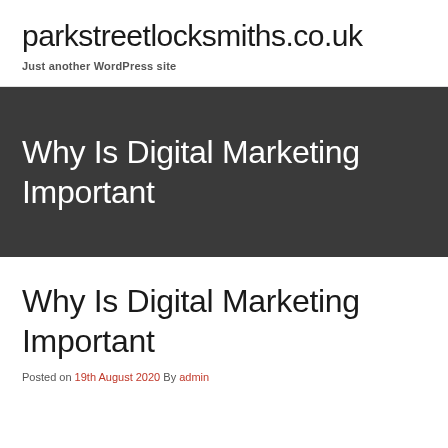parkstreetlocksmiths.co.uk
Just another WordPress site
Why Is Digital Marketing Important
Why Is Digital Marketing Important
Posted on 19th August 2020 By admin